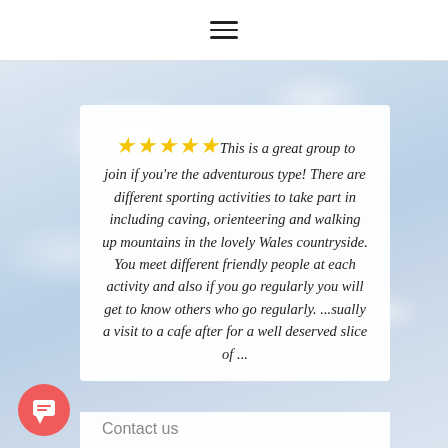≡ (hamburger menu)
[Figure (screenshot): Blurred snowy mountain landscape background image]
❝ ★★★★★ This is a great group to join if you're the adventurous type! There are different sporting activities to take part in including caving, orienteering and walking up mountains in the lovely Wales countryside. You meet different friendly people at each activity and also if you go regularly you will get to know others who go regularly. ...sually a visit to a cafe after for a well deserved slice of ...
Contact us